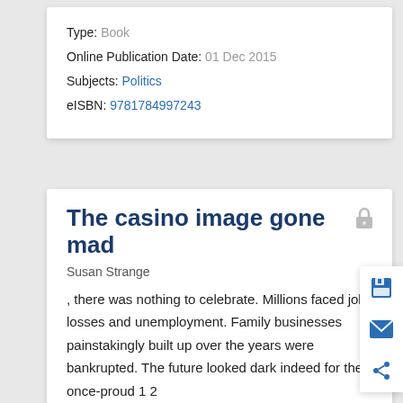Type: Book
Online Publication Date: 01 Dec 2015
Subjects: Politics
eISBN: 9781784997243
The casino image gone mad
Susan Strange
, there was nothing to celebrate. Millions faced job losses and unemployment. Family businesses painstakingly built up over the years were bankrupted. The future looked dark indeed for the once-proud 1 2